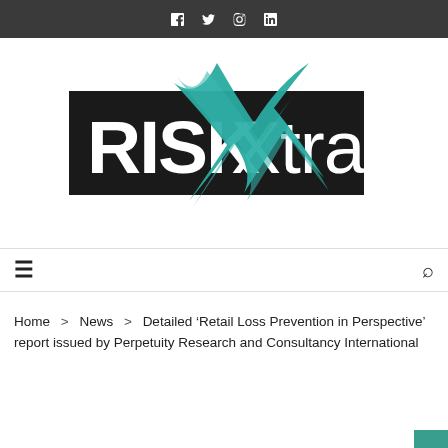f  t  (instagram)  in
[Figure (logo): RISKXtra logo — black rectangle with white bold text 'RISKXtra' and a teal brush-stroke X overlaid]
≡  (menu icon)    (search icon)
Home  >  News  >  Detailed 'Retail Loss Prevention in Perspective' report issued by Perpetuity Research and Consultancy International